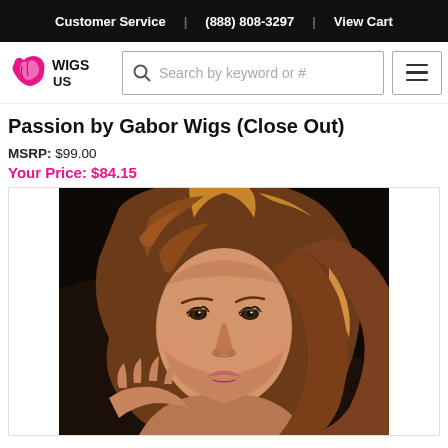Customer Service | (888) 808-3297 | View Cart
[Figure (logo): Wigs US logo with pink wig icon and black text]
Search by keyword or #
Passion by Gabor Wigs (Close Out)
MSRP: $99.00
Your Price: $84.15
[Figure (photo): Woman wearing a medium-length auburn/honey blonde layered wig with side-swept bangs, photographed against a dark background, close-up face and upper body shot]